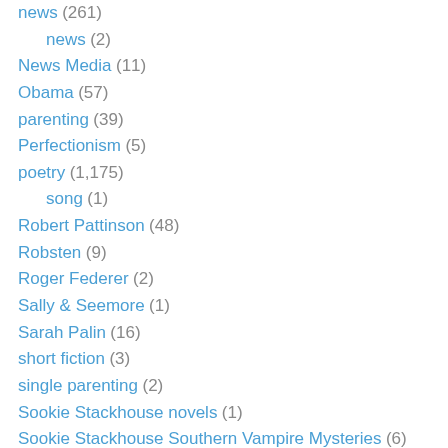news (261)
news (2)
News Media (11)
Obama (57)
parenting (39)
Perfectionism (5)
poetry (1,175)
song (1)
Robert Pattinson (48)
Robsten (9)
Roger Federer (2)
Sally & Seemore (1)
Sarah Palin (16)
short fiction (3)
single parenting (2)
Sookie Stackhouse novels (1)
Sookie Stackhouse Southern Vampire Mysteries (6)
Spoken Word (4)
Stress (99)
Ted Kennedy (2)